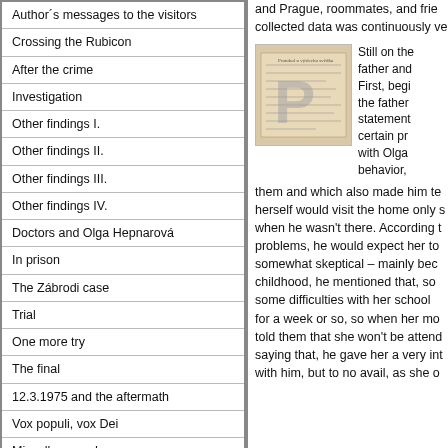Author´s messages to the visitors
Crossing the Rubicon
After the crime
Investigation
Other findings I.
Other findings II.
Other findings III.
Other findings IV.
Doctors and Olga Hepnarová
In prison
The Zábrodi case
Trial
One more try
The final
12.3.1975 and the aftermath
Vox populi, vox Dei
Miscellaneous I.
and Prague, roommates, and friends. The collected data was continuously ve
[Figure (photo): Old document or form with Czechoslovak text, overlaid with a large semi-transparent letter P watermark]
Still on the father and First, begi the father statements certain pro with Olga behavior,
them and which also made him terms herself would visit the home only s when he wasn't there. According to problems, he would expect her to somewhat skeptical – mainly beca childhood, he mentioned that, som some difficulties with her school at for a week or so, so when her mot told them that she won't be attend saying that, he gave her a very int with him, but to no avail, as she on